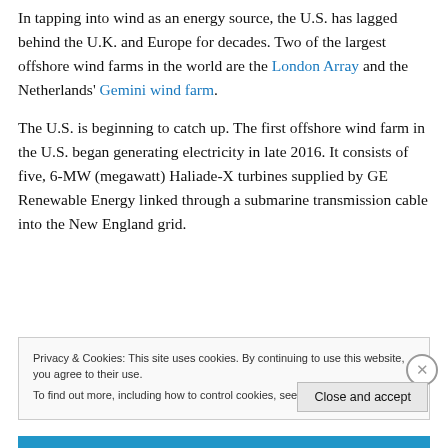In tapping into wind as an energy source, the U.S. has lagged behind the U.K. and Europe for decades. Two of the largest offshore wind farms in the world are the London Array and the Netherlands' Gemini wind farm.
The U.S. is beginning to catch up. The first offshore wind farm in the U.S. began generating electricity in late 2016. It consists of five, 6-MW (megawatt) Haliade-X turbines supplied by GE Renewable Energy linked through a submarine transmission cable into the New England grid.
Privacy & Cookies: This site uses cookies. By continuing to use this website, you agree to their use. To find out more, including how to control cookies, see here: Cookie Policy
Close and accept